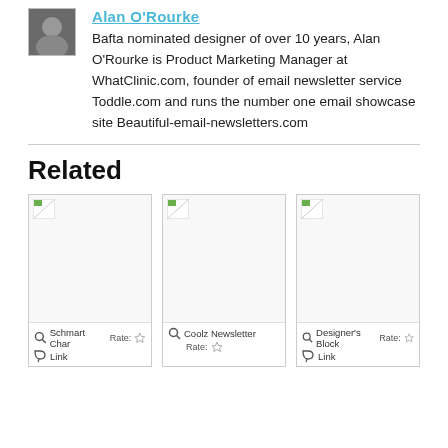[Figure (photo): Author headshot photo of Alan O'Rourke]
Bafta nominated designer of over 10 years, Alan O'Rourke is Product Marketing Manager at WhatClinic.com, founder of email newsletter service Toddle.com and runs the number one email showcase site Beautiful-email-newsletters.com
Related
[Figure (photo): Related article thumbnail image (broken) - Schmart Chat]
Schmart Chat Rate: Link
[Figure (photo): Related article thumbnail image (broken) - Coolz Newsletter]
Coolz Newsletter Rate:
[Figure (photo): Related article thumbnail image (broken) - Designer's Block]
Designer's Block Rate: Link